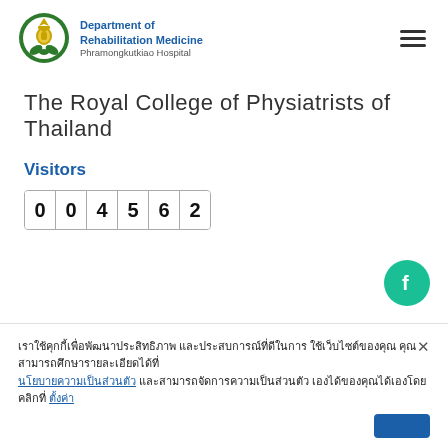[Figure (logo): Department of Rehabilitation Medicine, Phramongkutkiao Hospital logo with Thai emblem and hamburger menu icon]
The Royal College of Physiatrists of Thailand
Visitors
004562
[Figure (logo): Facebook icon button (teal circle with Facebook 'f' logo)]
เราใช้คุกกี้เพื่อพัฒนาประสิทธิภาพ และประสบการณ์ที่ดีในการใช้เว็บไซต์ของคุณ คุณสามารถศึกษารายละเอียดได้ที่ นโยบายความเป็นส่วนตัว และสามารถจัดการความเป็นส่วนตัวเองได้ของคุณได้เองโดยคลิกที่ ตั้งค่า